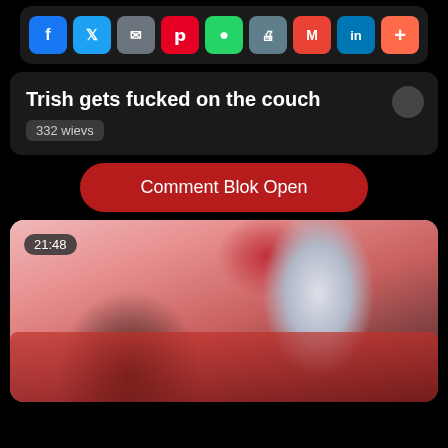[Figure (screenshot): Share bar with social media buttons: Facebook, Twitter, SMS, Pinterest, WhatsApp, Print, Gmail, LinkedIn, More]
Trish gets fucked on the couch
332 wievs
Comment Blok Open
[Figure (screenshot): Video thumbnail showing a scene on a red couch, timestamp 21:48 in top left corner]